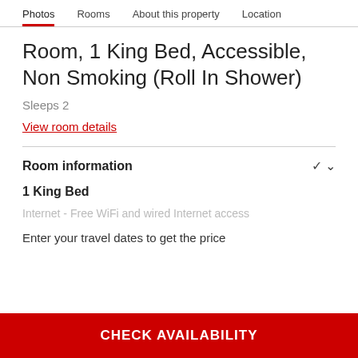Photos  Rooms  About this property  Location
Room, 1 King Bed, Accessible, Non Smoking (Roll In Shower)
Sleeps 2
View room details
Room information
1 King Bed
Internet - Free WiFi and wired Internet access
Enter your travel dates to get the price
CHECK AVAILABILITY